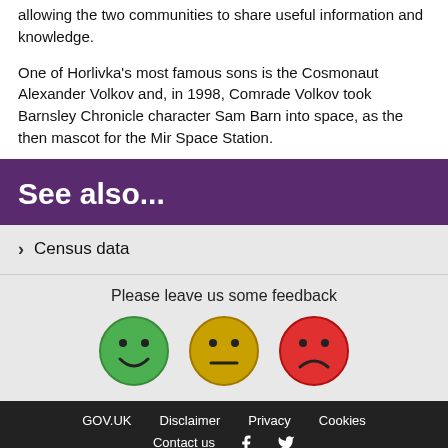allowing the two communities to share useful information and knowledge.
One of Horlivka's most famous sons is the Cosmonaut Alexander Volkov and, in 1998, Comrade Volkov took Barnsley Chronicle character Sam Barn into space, as the then mascot for the Mir Space Station.
See also...
Census data
Please leave us some feedback
[Figure (infographic): Three feedback emoji faces: green smiley (happy), yellow neutral face, red frowning face]
GOV.UK  Disclaimer  Privacy  Cookies  Contact us  [Facebook icon]  [Twitter icon]